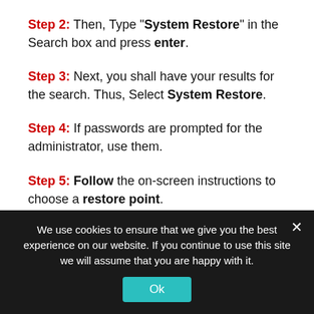Step 2: Then, Type "System Restore" in the Search box and press enter.
Step 3: Next, you shall have your results for the search. Thus, Select System Restore.
Step 4: If passwords are prompted for the administrator, use them.
Step 5: Follow the on-screen instructions to choose a restore point.
We use cookies to ensure that we give you the best experience on our website. If you continue to use this site we will assume that you are happy with it.